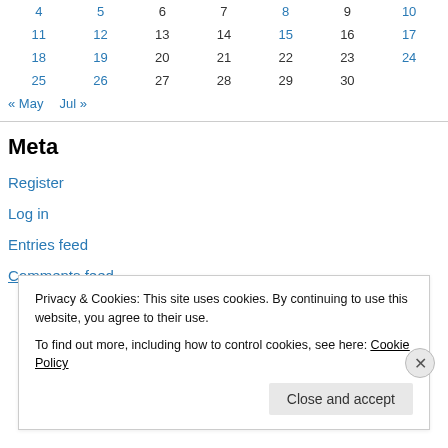| 4 | 5 | 6 | 7 | 8 | 9 | 10 |
| 11 | 12 | 13 | 14 | 15 | 16 | 17 |
| 18 | 19 | 20 | 21 | 22 | 23 | 24 |
| 25 | 26 | 27 | 28 | 29 | 30 |  |
« May   Jul »
Meta
Register
Log in
Entries feed
Comments feed
Privacy & Cookies: This site uses cookies. By continuing to use this website, you agree to their use.
To find out more, including how to control cookies, see here: Cookie Policy